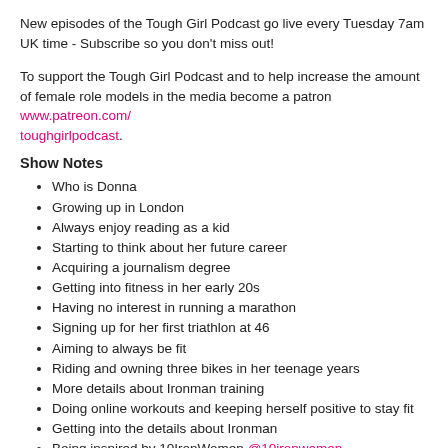New episodes of the Tough Girl Podcast go live every Tuesday 7am UK time - Subscribe so you don't miss out!
To support the Tough Girl Podcast and to help increase the amount of female role models in the media become a patron www.patreon.com/toughgirlpodcast.
Show Notes
Who is Donna
Growing up in London
Always enjoy reading as a kid
Starting to think about her future career
Acquiring a journalism degree
Getting into fitness in her early 20s
Having no interest in running a marathon
Signing up for her first triathlon at 46
Aiming to always be fit
Riding and owning three bikes in her teenage years
More details about Ironman training
Doing online workouts and keeping herself positive to stay fit
Getting into the details about Ironman
Being inspired by 10IronWomen @10ironwomen
Signing up for Ironman Barcelona 2020 at the age of 50
Representing and encouraging women of colour